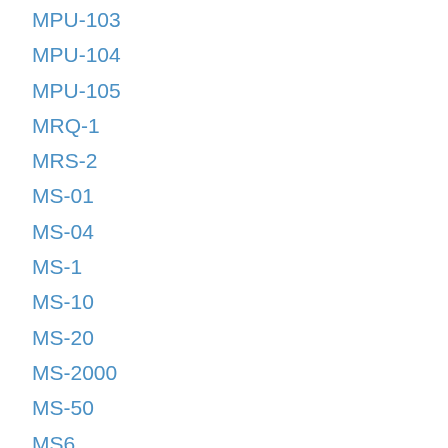MPU-103
MPU-104
MPU-105
MRQ-1
MRS-2
MS-01
MS-04
MS-1
MS-10
MS-20
MS-2000
MS-50
MS6
MSO-100